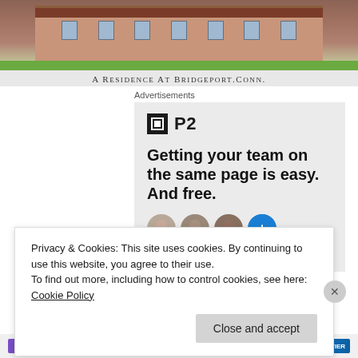[Figure (photo): Historic building photograph with caption 'A Residence At Bridgeport.Conn.']
A Residence At Bridgeport.Conn.
Advertisements
[Figure (screenshot): P2 advertisement: 'Getting your team on the same page is easy. And free.' with avatar images below]
Privacy & Cookies: This site uses cookies. By continuing to use this website, you agree to their use.
To find out more, including how to control cookies, see here: Cookie Policy
Close and accept